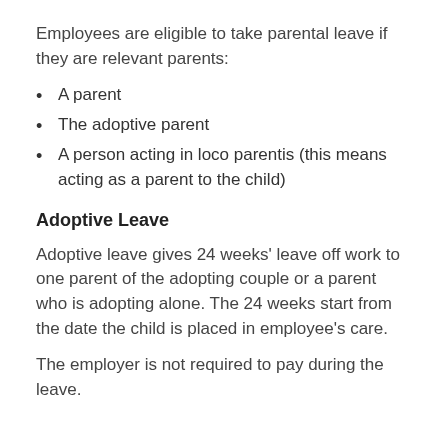Employees are eligible to take parental leave if they are relevant parents:
A parent
The adoptive parent
A person acting in loco parentis (this means acting as a parent to the child)
Adoptive Leave
Adoptive leave gives 24 weeks' leave off work to one parent of the adopting couple or a parent who is adopting alone. The 24 weeks start from the date the child is placed in employee's care.
The employer is not required to pay during the leave.